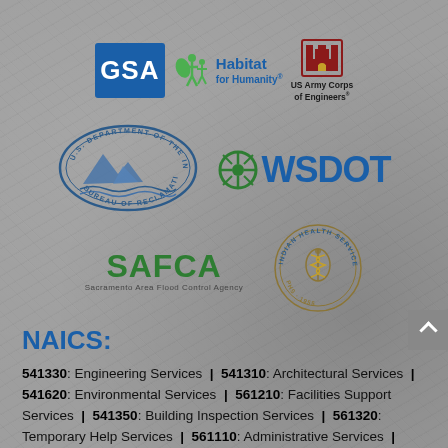[Figure (logo): GSA logo - blue square with white text]
[Figure (logo): Habitat for Humanity logo with people icon and blue text]
[Figure (logo): US Army Corps of Engineers logo with red castle]
[Figure (logo): U.S. Department of the Interior Bureau of Reclamation oval seal logo]
[Figure (logo): WSDOT logo with green wheel icon and blue text]
[Figure (logo): SAFCA Sacramento Area Flood Control Agency green logo]
[Figure (logo): Indian Health Service PHS circular seal logo]
NAICS:
541330: Engineering Services | 541310: Architectural Services | 541620: Environmental Services | 561210: Facilities Support Services | 541350: Building Inspection Services | 561320: Temporary Help Services | 561110: Administrative Services | 541690: Other Scientific and Technical